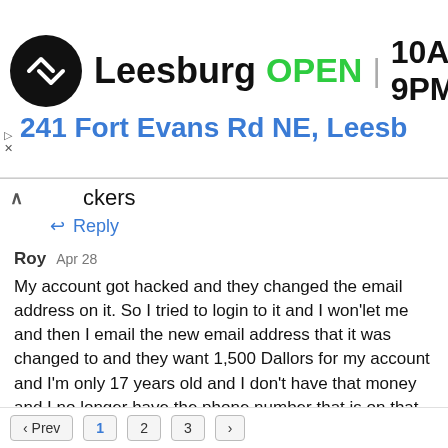[Figure (screenshot): Ad banner for a store in Leesburg showing logo, OPEN status, hours 10AM-9PM, address 241 Fort Evans Rd NE, Leesb, and navigation icon]
ckers
Reply
Roy  Apr 28
My account got hacked and they changed the email address on it. So I tried to login to it and I won'let me and then I email the new email address that it was changed to and they want 1,500 Dallors for my account and I'm only 17 years old and I don't have that money and I no longer have the phone number that is on that account
Reply